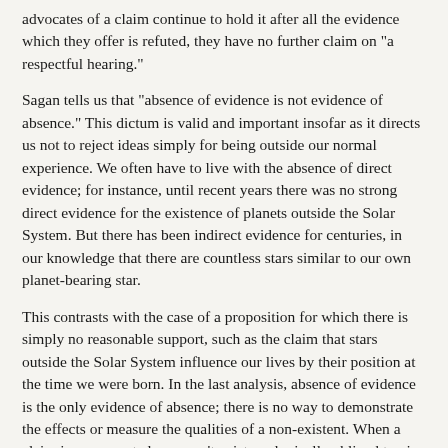advocates of a claim continue to hold it after all the evidence which they offer is refuted, they have no further claim on "a respectful hearing."
Sagan tells us that "absence of evidence is not evidence of absence." This dictum is valid and important insofar as it directs us not to reject ideas simply for being outside our normal experience. We often have to live with the absence of direct evidence; for instance, until recent years there was no strong direct evidence for the existence of planets outside the Solar System. But there has been indirect evidence for centuries, in our knowledge that there are countless stars similar to our own planet-bearing star.
This contrasts with the case of a proposition for which there is simply no reasonable support, such as the claim that stars outside the Solar System influence our lives by their position at the time we were born. In the last analysis, absence of evidence is the only evidence of absence; there is no way to demonstrate the effects or measure the qualities of a non-existent. When a claim is unsupported, we aren't epistemologically obliged to give refuting evidence before tossing it out.
The reason for Sagan's view evidently lies in a particular view of certainty and "absolutism." He states:
Except in pure mathematics, nothing is known for